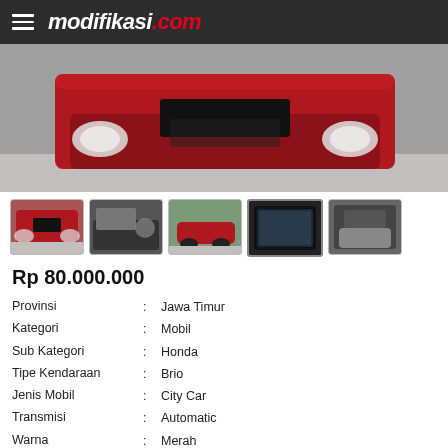modifikasi.com
[Figure (photo): Front view of a red Honda Brio car with black license plate area visible]
[Figure (photo): Thumbnail 1: Front view of red Honda Brio]
[Figure (photo): Thumbnail 2: Interior/dashboard view]
[Figure (photo): Thumbnail 3: Side view of red Honda Brio]
[Figure (photo): Thumbnail 4: In-car entertainment/screen]
[Figure (photo): Thumbnail 5: Interior rear/seat view]
Rp 80.000.000
| Label | Value |
| --- | --- |
| Provinsi | Jawa Timur |
| Kategori | Mobil |
| Sub Kategori | Honda |
| Tipe Kendaraan | Brio |
| Jenis Mobil | City Car |
| Transmisi | Automatic |
| Warna | Merah |
| Tahun | 2017 |
| Bahan Bakar | Bensin |
| Kilometer | 42.899 |
| Kondisi | Bekas |
| Update Terakhir | 02/09/2022, 15:59 WIB |
| Dibuat Oleh | HERSUGEN |